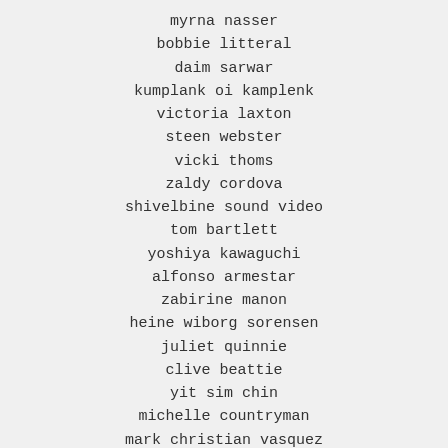myrna nasser
bobbie litteral
daim sarwar
kumplank oi kamplenk
victoria laxton
steen webster
vicki thoms
zaldy cordova
shivelbine sound video
tom bartlett
yoshiya kawaguchi
alfonso armestar
zabirine manon
heine wiborg sorensen
juliet quinnie
clive beattie
yit sim chin
michelle countryman
mark christian vasquez
maurits enschede
zach shapli
iresha upamali
veronica kavin
hali murphy